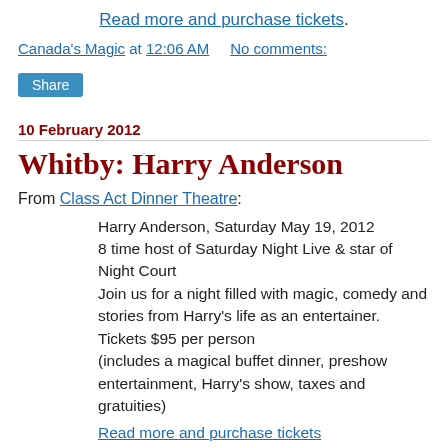Read more and purchase tickets.
Canada's Magic at 12:06 AM   No comments:
Share
10 February 2012
Whitby: Harry Anderson
From Class Act Dinner Theatre:
Harry Anderson, Saturday May 19, 2012
8 time host of Saturday Night Live & star of Night Court
Join us for a night filled with magic, comedy and stories from Harry's life as an entertainer.
Tickets $95 per person
(includes a magical buffet dinner, preshow entertainment, Harry's show, taxes and gratuities)
Read more and purchase tickets